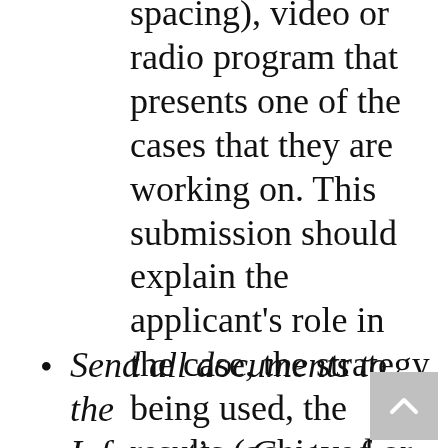spacing), video or radio program that presents one of the cases that they are working on. This submission should explain the applicant's role in the case, the strategy being used, the results (achieved or expected) and the means of evaluation.
Send all documents to the Information Center for Prior